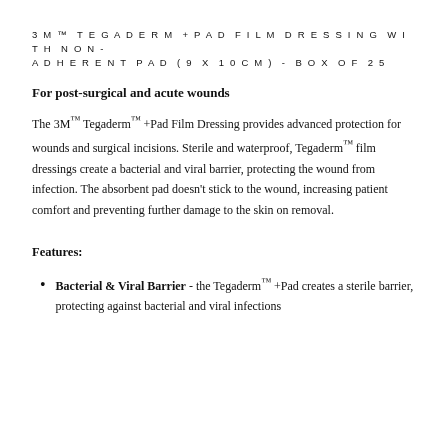3M™ TEGADERM +PAD FILM DRESSING WITH NON-ADHERENT PAD (9 X 10CM) - BOX OF 25
For post-surgical and acute wounds
The 3M™ Tegaderm™ +Pad Film Dressing provides advanced protection for wounds and surgical incisions. Sterile and waterproof, Tegaderm™ film dressings create a bacterial and viral barrier, protecting the wound from infection. The absorbent pad doesn't stick to the wound, increasing patient comfort and preventing further damage to the skin on removal.
Features:
Bacterial & Viral Barrier - the Tegaderm™ +Pad creates a sterile barrier, protecting against bacterial and viral infections